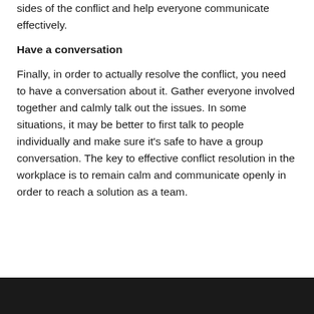sides of the conflict and help everyone communicate effectively.
Have a conversation
Finally, in order to actually resolve the conflict, you need to have a conversation about it. Gather everyone involved together and calmly talk out the issues. In some situations, it may be better to first talk to people individually and make sure it’s safe to have a group conversation. The key to effective conflict resolution in the workplace is to remain calm and communicate openly in order to reach a solution as a team.